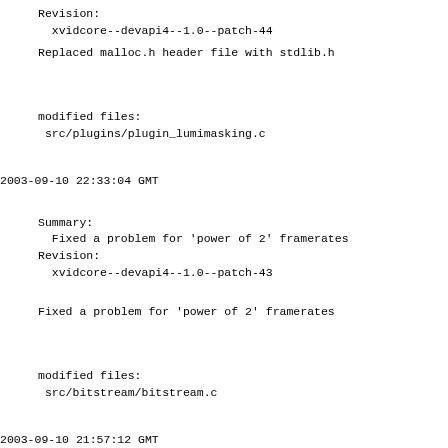Revision:
  xvidcore--devapi4--1.0--patch-44
Replaced malloc.h header file with stdlib.h
modified files:
 src/plugins/plugin_lumimasking.c
2003-09-10 22:33:04 GMT
Summary:
  Fixed a problem for 'power of 2' framerates
Revision:
  xvidcore--devapi4--1.0--patch-43
Fixed a problem for 'power of 2' framerates
modified files:
 src/bitstream/bitstream.c
2003-09-10 21:57:12 GMT
Summary:
  Motion Estimation module splitting.
Revision:
  xvidcore--devapi4--1.0--patch-42